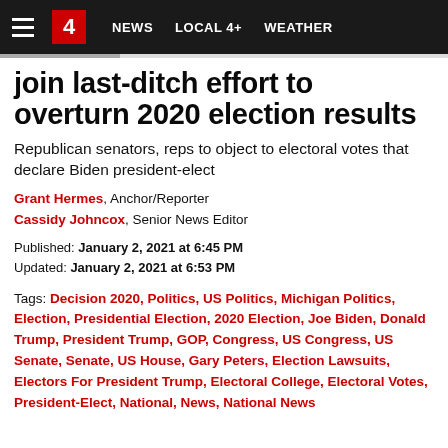≡  4  NEWS  LOCAL 4+  WEATHER
join last-ditch effort to overturn 2020 election results
Republican senators, reps to object to electoral votes that declare Biden president-elect
Grant Hermes, Anchor/Reporter
Cassidy Johncox, Senior News Editor
Published: January 2, 2021 at 6:45 PM
Updated: January 2, 2021 at 6:53 PM
Tags: Decision 2020, Politics, US Politics, Michigan Politics, Election, Presidential Election, 2020 Election, Joe Biden, Donald Trump, President Trump, GOP, Congress, US Congress, US Senate, Senate, US House, Gary Peters, Election Lawsuits, Electors For President Trump, Electoral College, Electoral Votes, President-Elect, National, News, National News